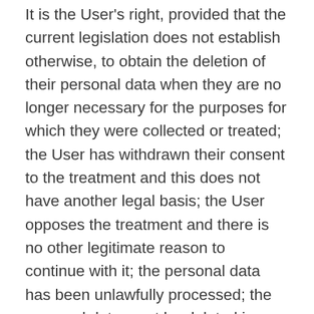It is the User's right, provided that the current legislation does not establish otherwise, to obtain the deletion of their personal data when they are no longer necessary for the purposes for which they were collected or treated; the User has withdrawn their consent to the treatment and this does not have another legal basis; the User opposes the treatment and there is no other legitimate reason to continue with it; the personal data has been unlawfully processed; the personal data must be deleted in compliance with a legal obligation; or the personal data has been obtained as a result of a direct offer of information society services to a child under